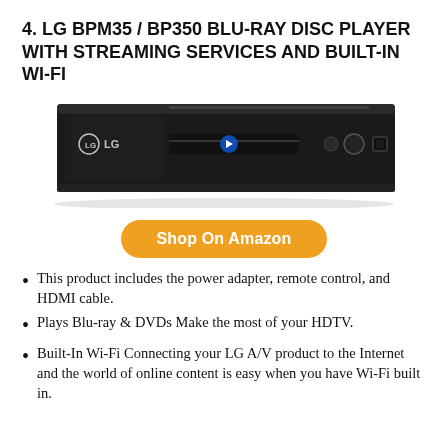4. LG BPM35 / BP350 BLU-RAY DISC PLAYER WITH STREAMING SERVICES AND BUILT-IN WI-FI
[Figure (photo): LG BPM35/BP350 Blu-ray disc player, black, front view showing LG logo, disc slot, Blu-ray logo, power button, eject button, and USB port]
Shop On Amazon
This product includes the power adapter, remote control, and HDMI cable.
Plays Blu-ray & DVDs Make the most of your HDTV.
Built-In Wi-Fi Connecting your LG A/V product to the Internet and the world of online content is easy when you have Wi-Fi built in.